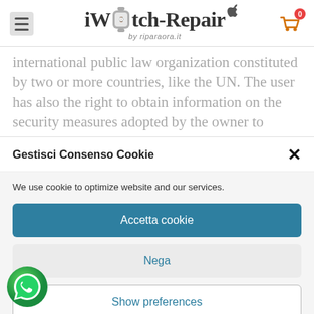iWatch-Repair by riparaora.it
international public law organization constituted by two or more countries, like the UN. The user has also the right to obtain information on the security measures adopted by the owner to protect such
Gestisci Consenso Cookie
We use cookie to optimize website and our services.
Accetta cookie
Nega
Show preferences